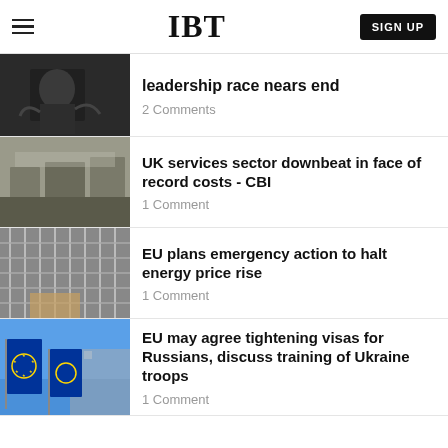IBT | SIGN UP
leadership race nears end
2 Comments
UK services sector downbeat in face of record costs - CBI
1 Comment
EU plans emergency action to halt energy price rise
1 Comment
EU may agree tightening visas for Russians, discuss training of Ukraine troops
1 Comment